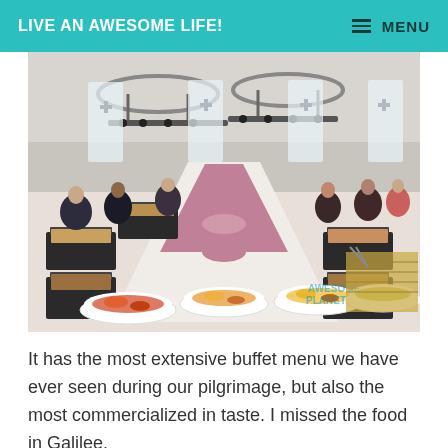LIVE AN AWESOME LIFE!   ≡ MENU
[Figure (photo): A large hotel banquet hall buffet spread with long rows of chafing dishes filled with food. Many people are serving themselves on both sides of the buffet line. Elaborate ceiling lighting rigs and tall windows are visible in the background. Plates of colorful food including vegetables and other dishes are in the foreground.]
It has the most extensive buffet menu we have ever seen during our pilgrimage, but also the most commercialized in taste. I missed the food in Galilee.